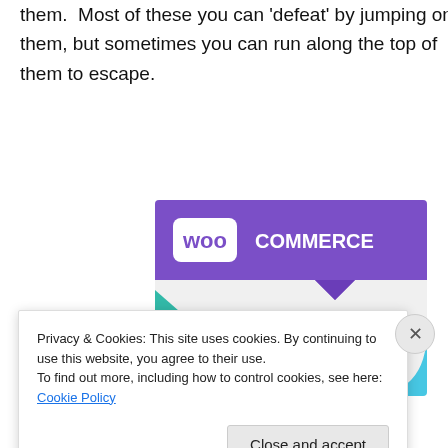them.  Most of these you can 'defeat' by jumping on them, but sometimes you can run along the top of them to escape.
[Figure (illustration): WooCommerce promotional image with purple header showing the WooCommerce logo, geometric shapes in teal and blue, and text reading 'How to start selling subscriptions online']
Privacy & Cookies: This site uses cookies. By continuing to use this website, you agree to their use.
To find out more, including how to control cookies, see here: Cookie Policy
Close and accept